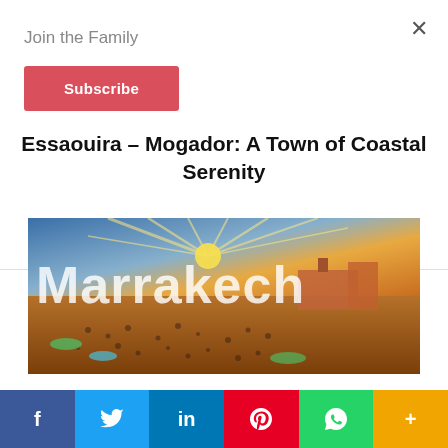Join the Family
Subscribe
×
Essaouira – Mogador: A Town of Coastal Serenity
[Figure (photo): Aerial/elevated view of Marrakech's Djemaa el-Fna square at sunset with large 'Marrakech' text overlay, crowds visible in the square, warm golden and blue sky tones]
f  Twitter  in  P  WhatsApp  +